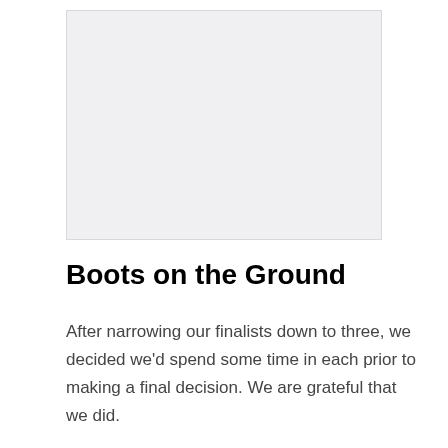[Figure (photo): Large placeholder image area with light gray background]
Boots on the Ground
After narrowing our finalists down to three, we decided we'd spend some time in each prior to making a final decision. We are grateful that we did.